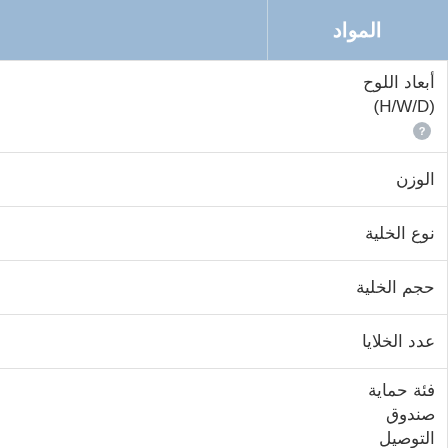| المواد |  |
| --- | --- |
| أبعاد اللوح (H/W/D) ❓ |  |
| الوزن |  |
| نوع الخلية |  |
| حجم الخلية |  |
| عدد الخلايا |  |
| فئة حماية صندوق التوصيل |  |
| نوع الموصل |  |
| المقطع العرضي للكابل |  |